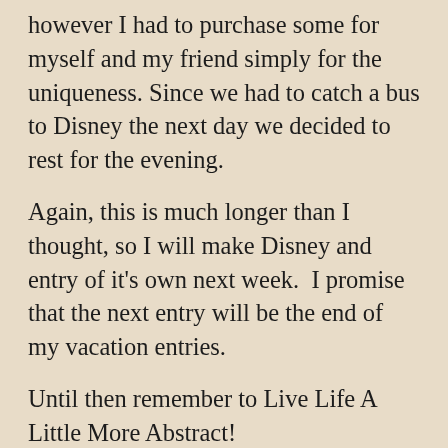however I had to purchase some for myself and my friend simply for the uniqueness. Since we had to catch a bus to Disney the next day we decided to rest for the evening.
Again, this is much longer than I thought, so I will make Disney and entry of it's own next week.  I promise that the next entry will be the end of my vacation entries.
Until then remember to Live Life A Little More Abstract!
♦ Sale  ♦ Sherlock  ♦ sock  ♦ Trip  ♦ vacation  # LA  # Sale  # Sherlock  # shopping  # sock  # Trip  # vacation  # Yarn